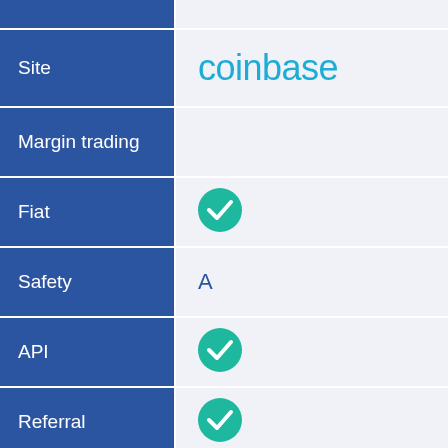|  |  |
| --- | --- |
| Site | coinbase |
| Margin trading |  |
| Fiat | ✓ |
| Safety | A |
| API | ✓ |
| Referral | ✓ |
|  |  |